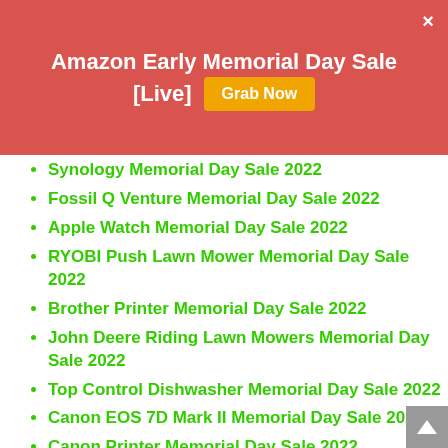Amazon Early Memorial Day Sale [Live] Grab Now
Synology Memorial Day Sale 2022
Fossil Q Venture Memorial Day Sale 2022
Apple Watch Memorial Day Sale 2022
RYOBI Push Lawn Mower Memorial Day Sale 2022
Brother Printer Memorial Day Sale 2022
John Deere Riding Lawn Mowers Memorial Day Sale 2022
Top Control Dishwasher Memorial Day Sale 2022
Canon EOS 7D Mark II Memorial Day Sale 2022
Canon Printer Memorial Day Sale 2022
Essential Oil Diffuser Memorial Day Sales